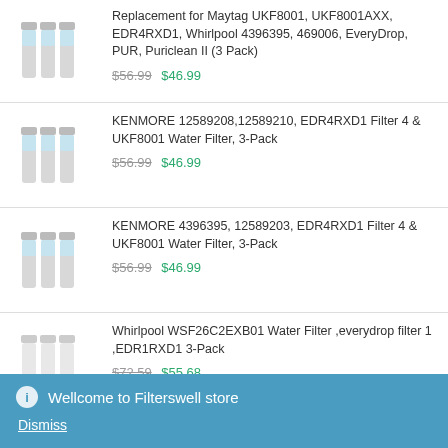Replacement for Maytag UKF8001, UKF8001AXX, EDR4RXD1, Whirlpool 4396395, 469006, EveryDrop, PUR, Puriclean II (3 Pack) $56.99 $46.99
KENMORE 12589208,12589210, EDR4RXD1 Filter 4 & UKF8001 Water Filter, 3-Pack $56.99 $46.99
KENMORE 4396395, 12589203, EDR4RXD1 Filter 4 & UKF8001 Water Filter, 3-Pack $56.99 $46.99
Whirlpool WSF26C2EXB01 Water Filter ,everydrop filter 1 ,EDR1RXD1 3-Pack $72.59 $55.68
Wellcome to Filterswell store
Dismiss